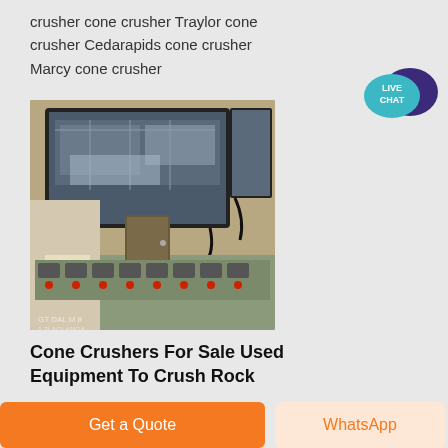crusher cone crusher Traylor cone crusher Cedarapids cone crusher Marcy cone crusher
[Figure (photo): Control room with monitors showing aerial view of industrial/mining facility, and a control panel with buttons and indicator lights below]
Cone Crushers For Sale Used Equipment To Crush Rock
In addition to offering used
[Figure (other): Live Chat button — teal speech bubble with dark purple chat bubble icon, text 'LIVE CHAT']
Get a Quote
WhatsApp